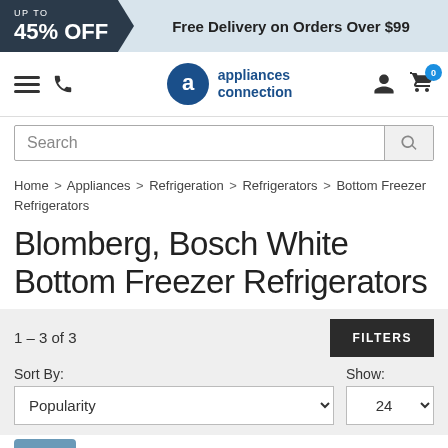UP TO 45% OFF | Free Delivery on Orders Over $99
[Figure (logo): Appliances Connection logo with hamburger menu, phone icon, user icon, and cart icon with 0 badge]
Search
Home > Appliances > Refrigeration > Refrigerators > Bottom Freezer Refrigerators
Blomberg, Bosch White Bottom Freezer Refrigerators
1 – 3 of 3
Sort By: Popularity | Show: 24
Blomberg BRFB1045WH